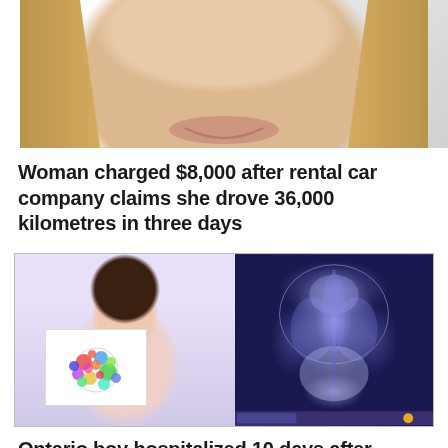[Figure (photo): Close-up photo of a smiling woman with long blonde hair against a light background]
Woman charged $8,000 after rental car company claims she drove 36,000 kilometres in three days
[Figure (photo): Two images side by side: left shows a young boy in a hospital bed holding a paper with colorful confetti dots; right shows a chest X-ray image on a screen]
Ontario boy hospitalized 10 days after accident with